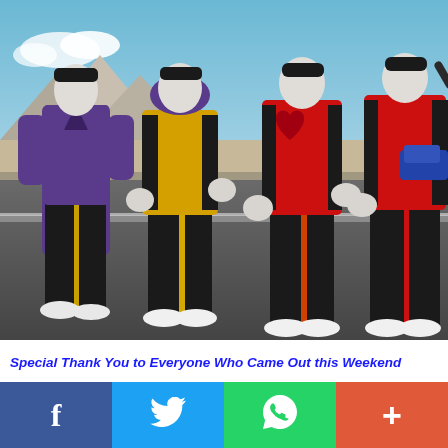[Figure (photo): Four people wearing white masks and colorful athletic/tracksuit outfits (purple, yellow, red, black) standing on a road with mountains and blue sky in the background.]
Special Thank You to Everyone Who Came Out this Weekend